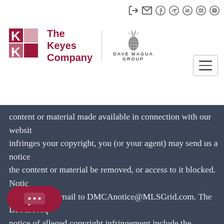[Figure (logo): The Keyes Company logo with red K icon and red text, alongside Dave Magua Group pineapple icon and text]
content or material made available in connection with our website infringes your copyright, you (or your agent) may send us a notice the content or material be removed, or access to it blocked. Notice in writing by email to DMCAnotice@MLSGrid.com. The DMCA req notice of alleged copyright infringement include the following in description of the copyrighted work that is the subject of claimed (2) description of the alleged infringing content and information permit us to locate the content; (3) contact information for you, address, telephone number and email address; (4) a statement by have a good faith belief that the content in the manner complai authorized by the copyright owner, or its agent, or by the operatio by you, signed under penalty of perjury, that the info notification is accurate and that you have the authority to enforc